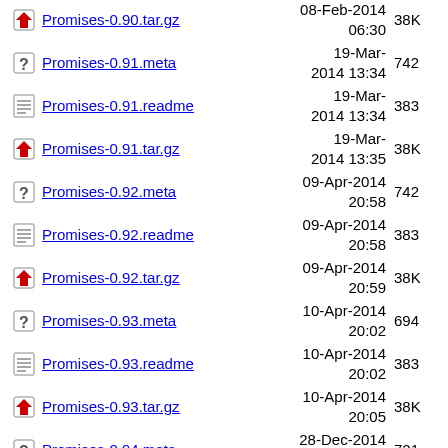Promises-0.90.tar.gz  08-Feb-2014 06:30  38K
Promises-0.91.meta  19-Mar-2014 13:34  742
Promises-0.91.readme  19-Mar-2014 13:34  383
Promises-0.91.tar.gz  19-Mar-2014 13:35  38K
Promises-0.92.meta  09-Apr-2014 20:58  742
Promises-0.92.readme  09-Apr-2014 20:58  383
Promises-0.92.tar.gz  09-Apr-2014 20:59  38K
Promises-0.93.meta  10-Apr-2014 20:02  694
Promises-0.93.readme  10-Apr-2014 20:02  383
Promises-0.93.tar.gz  10-Apr-2014 20:05  38K
Promises-0.94.meta  28-Dec-2014 18:24  721
Promises-0.94.readme  28-Dec-2014  383